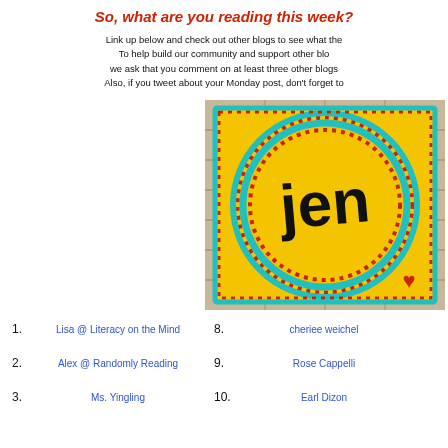So, what are you reading this week?
Link up below and check out other blogs to see what the
To help build our community and support other blo
we ask that you comment on at least three other blogs
Also, if you tweet about your Monday post, don't forget to
[Figure (logo): Colorful logo with yellow background, teal and red dotted concentric circles, handwritten 'Jen' text in black, small red heart in bottom right, brick-like border]
1. Lisa @ Literacy on the Mind
8. cheriee weichel
2. Alex @ Randomly Reading
9. Rose Cappelli
3. Ms. Yingling
10. Earl Dizon